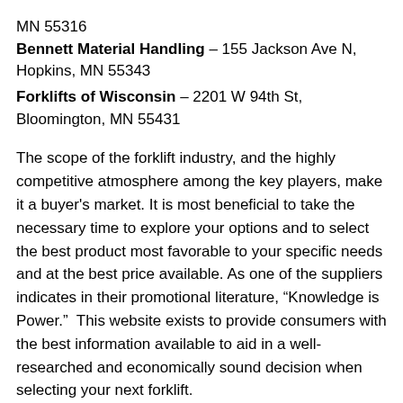MN 55316
Bennett Material Handling – 155 Jackson Ave N, Hopkins, MN 55343
Forklifts of Wisconsin – 2201 W 94th St, Bloomington, MN 55431
The scope of the forklift industry, and the highly competitive atmosphere among the key players, make it a buyer's market. It is most beneficial to take the necessary time to explore your options and to select the best product most favorable to your specific needs and at the best price available. As one of the suppliers indicates in their promotional literature, “Knowledge is Power.”  This website exists to provide consumers with the best information available to aid in a well-researched and economically sound decision when selecting your next forklift.
View Forklift Prices Here